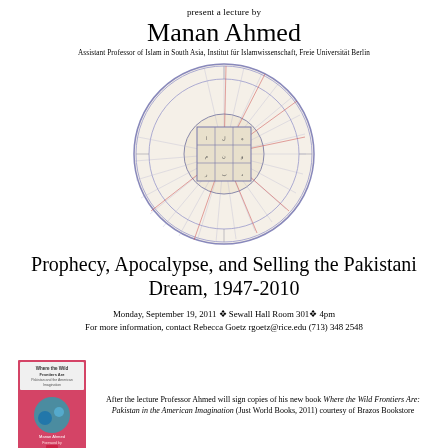present a lecture by
Manan Ahmed
Assistant Professor of Islam in South Asia, Institut für Islamwissenschaft, Freie Universität Berlin
[Figure (illustration): A circular Islamic manuscript diagram with concentric rings filled with Arabic text and colored lines radiating from a central grid/table, resembling a cosmological or astrological chart.]
Prophecy, Apocalypse, and Selling the Pakistani Dream, 1947-2010
Monday, September 19, 2011 ❖ Sewall Hall Room 301❖ 4pm
For more information, contact Rebecca Goetz rgoetz@rice.edu (713) 348 2548
[Figure (illustration): Book cover of 'Where the Wild Frontiers Are: Pakistan and the American Imagination' by Manan Ahmed, showing a pink/red cover with a teal circular illustration.]
After the lecture Professor Ahmed will sign copies of his new book Where the Wild Frontiers Are: Pakistan in the American Imagination (Just World Books, 2011) courtesy of Brazos Bookstore